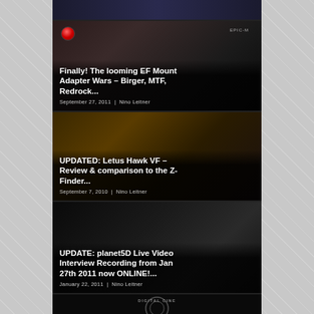[Figure (photo): Dark top sliver image partial view of a scene]
Finally! The looming EF Mount Adapter Wars – Birger, MTF, Redrock...
September 27, 2011 | Nino Leitner
UPDATED: Letus Hawk VF – Review & comparison to the Z-Finder...
September 7, 2010 | Nino Leitner
UPDATE: planet5D Live Video Interview Recording from Jan 27th 2011 now ONLINE!...
January 22, 2011 | Nino Leitner
[Figure (logo): Digital Cinema logo with circular camera aperture design]